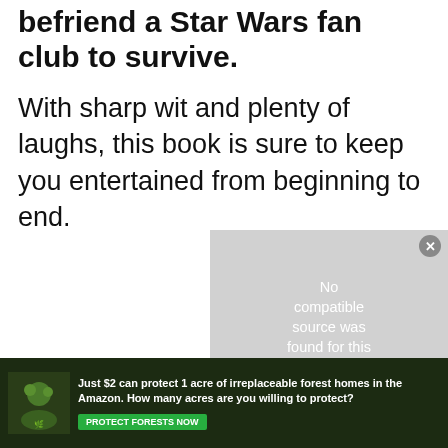befriend a Star Wars fan club to survive.
With sharp wit and plenty of laughs, this book is sure to keep you entertained from beginning to end.
[Figure (screenshot): Video player error overlay showing 'No compatible source was found for this media.' with a close button. Below is an advertisement banner: 'Just $2 can protect 1 acre of irreplaceable forest homes in the Amazon. How many acres are you willing to protect?' with a green PROTECT FORESTS NOW button on a dark green background.]